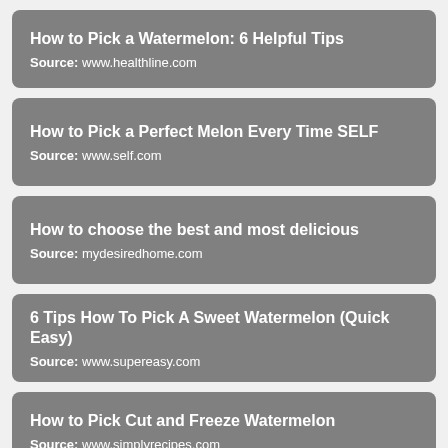How to Pick a Watermelon: 6 Helpful Tips
Source: www.healthline.com
How to Pick a Perfect Melon Every Time SELF
Source: www.self.com
How to choose the best and most delicious
Source: mydesiredhome.com
6 Tips How To Pick A Sweet Watermelon (Quick Easy)
Source: www.supereasy.com
How to Pick Cut and Freeze Watermelon
Source: www.simplyrecipes.com